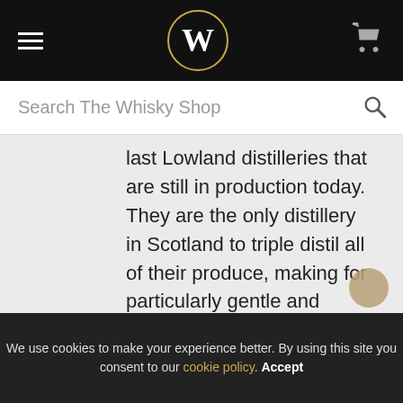W — The Whisky Shop navigation header
Search The Whisky Shop
last Lowland distilleries that are still in production today. They are the only distillery in Scotland to triple distil all of their produce, making for particularly gentle and smooth whiskies. The distillery is currently owned by Morrison Bowmore.
We use cookies to make your experience better. By using this site you consent to our cookie policy. Accept